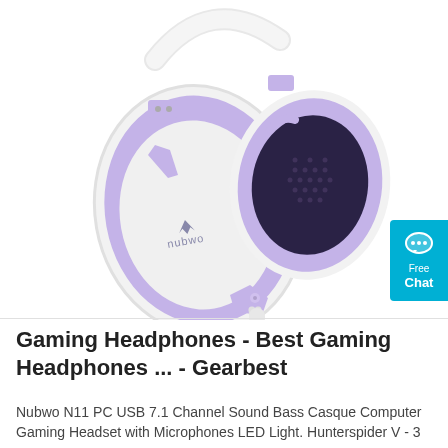[Figure (photo): White and purple gaming headphones (Nubwo brand) on white background, showing the left ear cup with purple accents, white headband, and a cable visible at the bottom.]
[Figure (infographic): Cyan/teal Free Chat widget button in the upper right corner, with a chat bubble icon, the word 'Free' and 'Chat' in white text.]
Gaming Headphones - Best Gaming Headphones ... - Gearbest
Nubwo N11 PC USB 7.1 Channel Sound Bass Casque Computer Gaming Headset with Microphones LED Light. Hunterspider V - 3